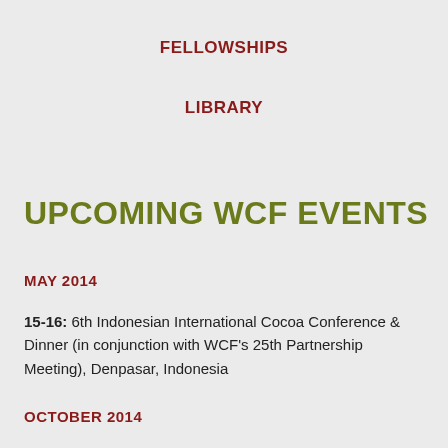FELLOWSHIPS
LIBRARY
UPCOMING WCF EVENTS
MAY 2014
15-16: 6th Indonesian International Cocoa Conference & Dinner (in conjunction with WCF's 25th Partnership Meeting), Denpasar, Indonesia
OCTOBER 2014